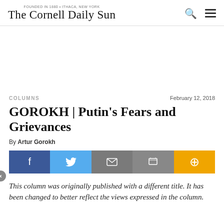The Cornell Daily Sun
[Figure (other): Advertisement/blank space area]
COLUMNS | February 12, 2018
GOROKH | Putin's Fears and Grievances
By Artur Gorokh
[Figure (infographic): Social share bar with Facebook, Twitter, Email, Print, and Plus buttons]
This column was originally published with a different title. It has been changed to better reflect the views expressed in the column.